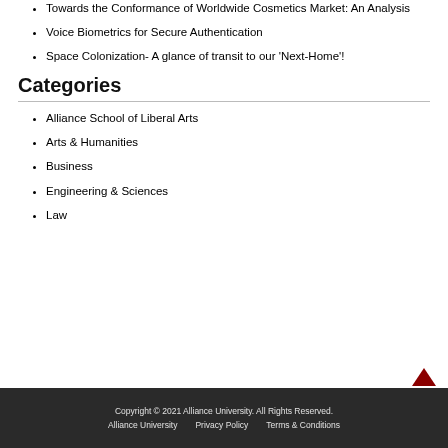Towards the Conformance of Worldwide Cosmetics Market: An Analysis
Voice Biometrics for Secure Authentication
Space Colonization- A glance of transit to our 'Next-Home'!
Categories
Alliance School of Liberal Arts
Arts & Humanities
Business
Engineering & Sciences
Law
Copyright © 2021 Alliance University. All Rights Reserved.
Alliance University   Privacy Policy   Terms & Conditions